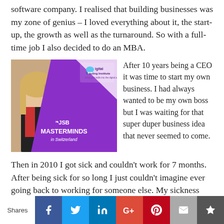software company. I realised that building businesses was my zone of genius – I loved everything about it, the start-up, the growth as well as the turnaround. So with a full-time job I also decided to do an MBA.
[Figure (photo): Photo of two women smiling with a purple banner showing 'JSB MASTERMINDS in Switzerland' and a Digital Training Institute logo]
After 10 years being a CEO it was time to start my own business. I had always wanted to be my own boss but I was waiting for that super duper business idea that never seemed to come. Then in 2010 I got sick and couldn't work for 7 months. After being sick for so long I just couldn't imagine ever going back to working for someone else. My sickness was a blessing in disguise and I finally found the courage to start with
Shares  f  t  in  G+  P  mail  crown